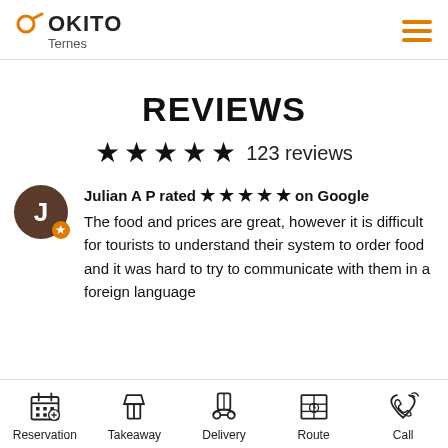OKITO Ternes
REVIEWS
★★★★★ 123 reviews
Julian A P rated ★★★★★ on Google
The food and prices are great, however it is difficult for tourists to understand their system to order food and it was hard to try to communicate with them in a foreign language
Reservation | Takeaway | Delivery | Route | Call